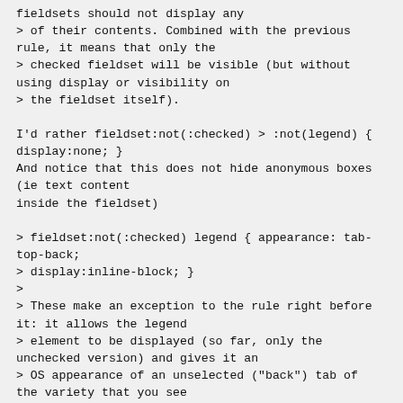fieldsets should not display any
> of their contents. Combined with the previous rule, it means that only the
> checked fieldset will be visible (but without using display or visibility on
> the fieldset itself).

I'd rather fieldset:not(:checked) > :not(legend) { display:none; }
And notice that this does not hide anonymous boxes (ie text content
inside the fieldset)

> fieldset:not(:checked) legend { appearance: tab-top-back;
> display:inline-block; }
>
> These make an exception to the rule right before it: it allows the legend
> element to be displayed (so far, only the unchecked version) and gives it an
> OS appearance of an unselected ("back") tab of the variety that you see
> along the top of a tabbed display. This is more specific than just
> "appearance:tab", which does not seem to be enough to describe the different
> states or positional types for tabs. Maybe there would be a better way to